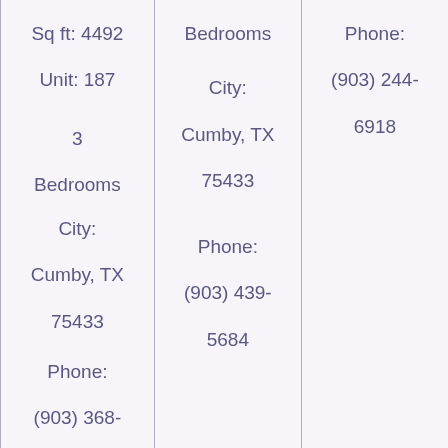| Sq ft: 4492
Unit: 187
3 Bedrooms
City:
Cumby, TX 75433
Phone:
(903) 368-4913 | Bedrooms
City:
Cumby, TX 75433
Phone:
(903) 439-5684 | Phone:
(903) 244-6918 |